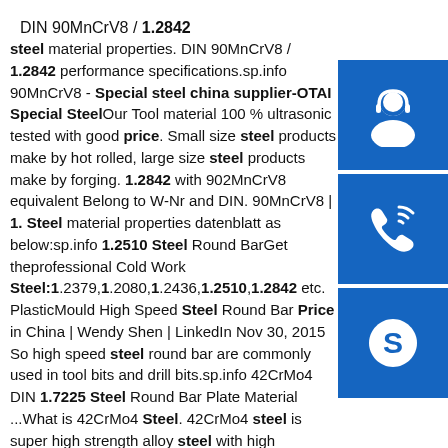DIN 90MnCrV8 / 1.2842
steel material properties. DIN 90MnCrV8 / 1.2842 performance specifications.sp.info 90MnCrV8 - Special steel china supplier-OTAI Special Steel Our Tool material 100 % ultrasonic tested with good price. Small size steel products make by hot rolled, large size steel products make by forging. 1.2842 with 902MnCrV8 equivalent Belong to W-Nr and DIN. 90MnCrV8 | 1. Steel material properties datenblatt as below:sp.info 1.2510 Steel Round BarGet theprofessional Cold Work Steel:1.2379,1.2080,1.2436,1.2510,1.2842 etc. PlasticMould High Speed Steel Round Bar Price in China | Wendy Shen | LinkedIn Nov 30, 2015 So high speed steel round bar are commonly used in tool bits and drill bits.sp.info 42CrMo4 DIN 1.7225 Steel Round Bar Plate Material ...What is 42CrMo4 Steel. 42CrMo4 steel is super high strength alloy steel with high hardenability and toughness and it has no temper brittleness. And it also be called DIN 1.7225 steel. After quenching and tempering, it
[Figure (infographic): Three blue icon boxes on right side: customer support headset icon, phone/call icon, and Skype logo icon]